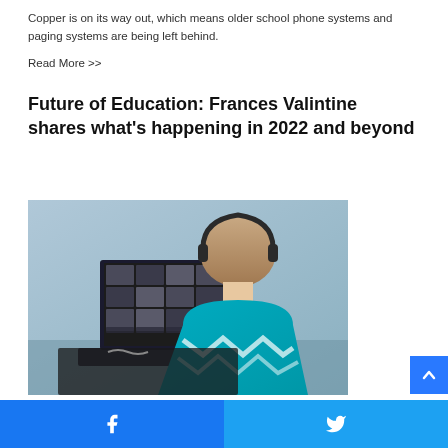Copper is on its way out, which means older school phone systems and paging systems are being left behind.
Read More >>
Future of Education: Frances Valintine shares what's happening in 2022 and beyond
[Figure (photo): A student wearing headphones and a teal/turquoise patterned top viewed from behind, sitting at a desk looking at a laptop screen showing a video conference grid of participants.]
Facebook share | Twitter share